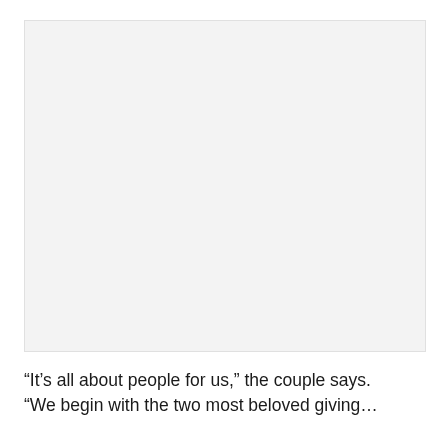[Figure (photo): A large light gray rectangular area representing a photograph placeholder, occupying the upper portion of the page.]
“It’s all about people for us,” the couple says. “We begin with the two most beloved giving…